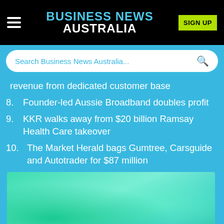BUSINESS NEWS AUSTRALIA
Search Business News Australia...
revenue from dedicated customer base
8. Founder-led Aussie Broadband doubles profit
9. KKR walks away from $20 billion Ramsay Health Care takeover
10. The Market Herald bags Gumtree, Carsguide and Autotrader for $87 million
[Figure (photo): Green/teal gradient image placeholder at bottom of page]